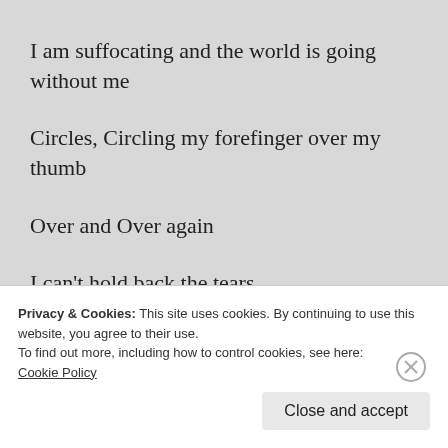I am suffocating and the world is going without me
Circles, Circling my forefinger over my thumb
Over and Over again
I can’t hold back the tears
What is wrong?
Privacy & Cookies: This site uses cookies. By continuing to use this website, you agree to their use.
To find out more, including how to control cookies, see here:
Cookie Policy
Close and accept